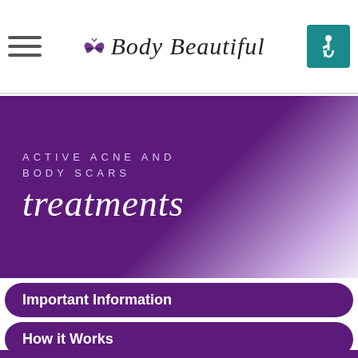Body Beautiful
ACTIVE ACNE AND BODY SCARS treatments
Important Information
How it Works
FAQ's
Before and After
Testimonials